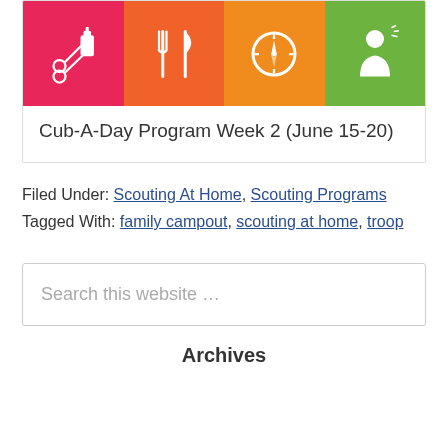[Figure (illustration): Card image showing four colored icon blocks: pink with scissors and glue, orange with fork and knife, dark orange with compass, green with partial figure. Caption below reads: Cub-A-Day Program Week 2 (June 15-20)]
Cub-A-Day Program Week 2 (June 15-20)
Filed Under: Scouting At Home, Scouting Programs
Tagged With: family campout, scouting at home, troop
Search this website …
Archives